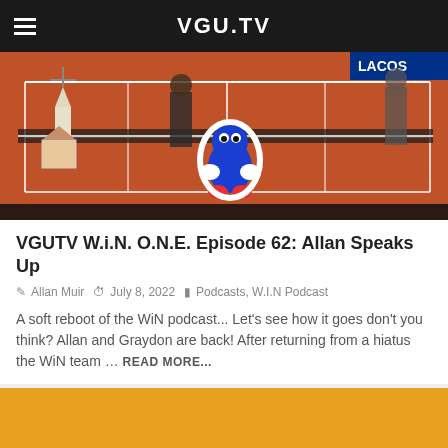VGU.TV
[Figure (screenshot): Screenshot of a tennis video game showing cartoon characters including a Sonic-like character on a clay tennis court, with LACOSTE advertising banner visible]
VGUTV W.i.N. O.N.E. Episode 62: Allan Speaks Up
Allan Muir  July 8, 2022  Podcasts, W.I.N Podcast
A soft reboot of the WiN podcast... Let's see how it goes don't you think? Allan and Graydon are back! After returning from a hiatus the WiN team … READ MORE...
[Figure (photo): Bottom portion of page showing an orange/amber colored card or image area]